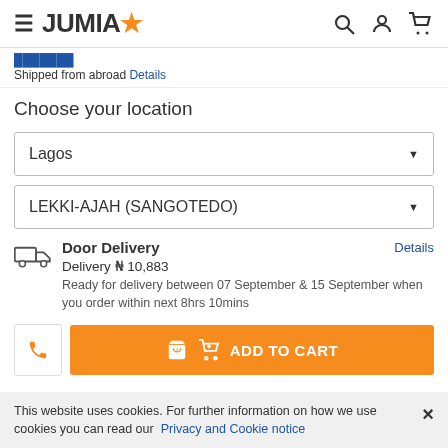JUMIA
Shipped from abroad Details
Choose your location
Lagos
LEKKI-AJAH (SANGOTEDO)
Door Delivery  Details  Delivery ₦ 10,883  Ready for delivery between 07 September & 15 September when you order within next 8hrs 10mins
ADD TO CART
This website uses cookies. For further information on how we use cookies you can read our Privacy and Cookie notice